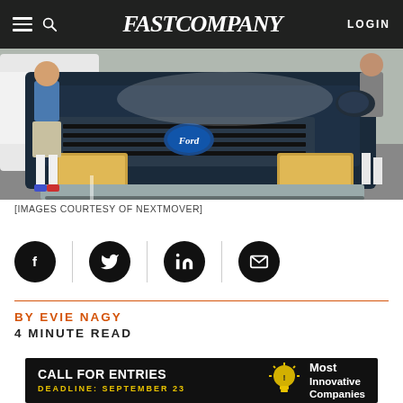FAST COMPANY — LOGIN
[Figure (photo): A blue Ford pickup truck with hood open, person in blue shirt and shorts with white socks and sneakers standing beside it in a parking lot]
[IMAGES COURTESY OF NEXTMOVER]
[Figure (infographic): Social share icons row: Facebook, Twitter, LinkedIn, Email — black circles with white icons, separated by vertical dividers]
BY EVIE NAGY
4 MINUTE READ
[Figure (infographic): Advertisement banner: CALL FOR ENTRIES — DEADLINE: SEPTEMBER 23 — Most Innovative Companies, with lightbulb icon]